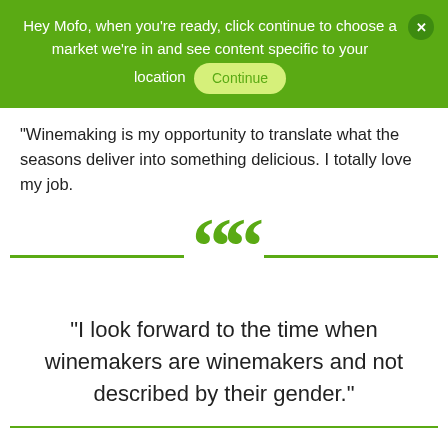Hey Mofo, when you're ready, click continue to choose a market we're in and see content specific to your location  Continue
"Winemaking is my opportunity to translate what the seasons deliver into something delicious. I totally love my job.
[Figure (illustration): Large green double open-quotation mark decoration with green horizontal lines on each side]
"I look forward to the time when winemakers are winemakers and not described by their gender."